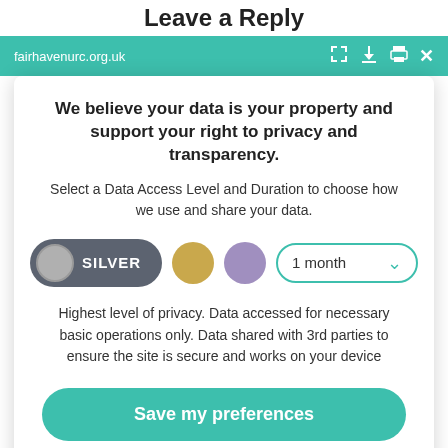Leave a Reply
fairhavenurc.org.uk
We believe your data is your property and support your right to privacy and transparency.
Select a Data Access Level and Duration to choose how we use and share your data.
SILVER   1 month
Highest level of privacy. Data accessed for necessary basic operations only. Data shared with 3rd parties to ensure the site is secure and works on your device
Save my preferences
Customize
Privacy policy